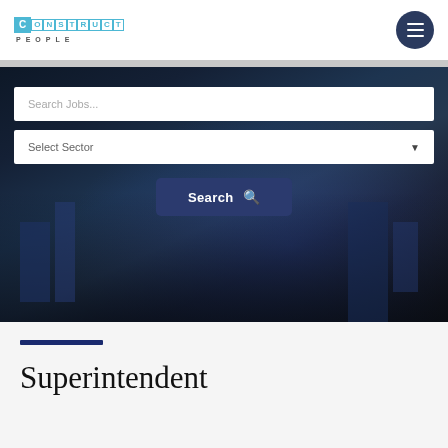Construct People
[Figure (screenshot): Hero banner with city skyline background showing job search interface with search bar, sector dropdown, and search button]
Superintendent